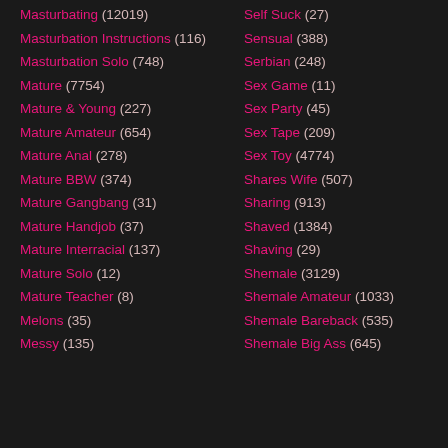Masturbating (12019)
Masturbation Instructions (116)
Masturbation Solo (748)
Mature (7754)
Mature & Young (227)
Mature Amateur (654)
Mature Anal (278)
Mature BBW (374)
Mature Gangbang (31)
Mature Handjob (37)
Mature Interracial (137)
Mature Solo (12)
Mature Teacher (8)
Melons (35)
Messy (135)
Self Suck (27)
Sensual (388)
Serbian (248)
Sex Game (11)
Sex Party (45)
Sex Tape (209)
Sex Toy (4774)
Shares Wife (507)
Sharing (913)
Shaved (1384)
Shaving (29)
Shemale (3129)
Shemale Amateur (1033)
Shemale Bareback (535)
Shemale Big Ass (645)